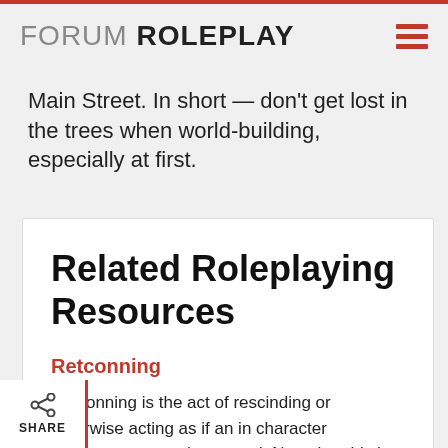FORUM ROLEPLAY
Main Street. In short — don't get lost in the trees when world-building, especially at first.
Related Roleplaying Resources
Retconning
Retconning is the act of rescinding or otherwise acting as if an in character occurrence never happened. Note that this is explicitly different from roleplayers who promise a plot and do not follow...